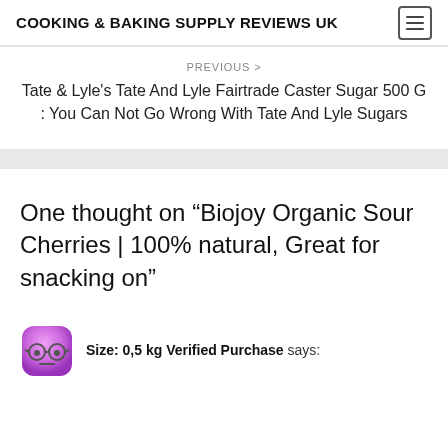COOKING & BAKING SUPPLY REVIEWS UK
PREVIOUS >
Tate & Lyle's Tate And Lyle Fairtrade Caster Sugar 500 G : You Can Not Go Wrong With Tate And Lyle Sugars
One thought on “Biojoy Organic Sour Cherries | 100% natural, Great for snacking on”
Size: 0,5 kg Verified Purchase says: